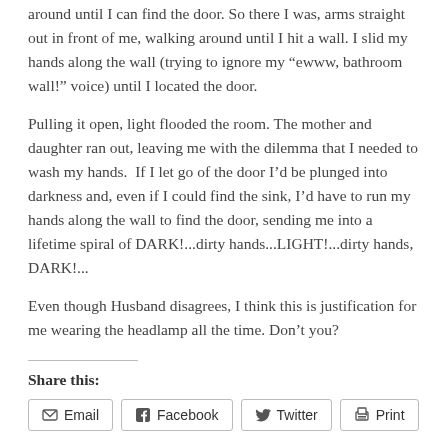around until I can find the door. So there I was, arms straight out in front of me, walking around until I hit a wall. I slid my hands along the wall (trying to ignore my “ewww, bathroom wall!” voice) until I located the door.
Pulling it open, light flooded the room. The mother and daughter ran out, leaving me with the dilemma that I needed to wash my hands.  If I let go of the door I’d be plunged into darkness and, even if I could find the sink, I’d have to run my hands along the wall to find the door, sending me into a lifetime spiral of DARK!...dirty hands...LIGHT!...dirty hands, DARK!...
Even though Husband disagrees, I think this is justification for me wearing the headlamp all the time. Don’t you?
Share this:
Email  Facebook  Twitter  Print